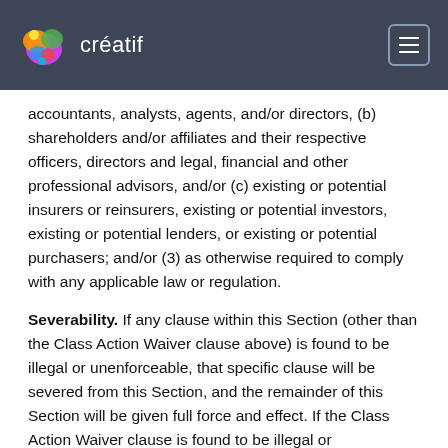créatif
accountants, analysts, agents, and/or directors, (b) shareholders and/or affiliates and their respective officers, directors and legal, financial and other professional advisors, and/or (c) existing or potential insurers or reinsurers, existing or potential investors, existing or potential lenders, or existing or potential purchasers; and/or (3) as otherwise required to comply with any applicable law or regulation.
Severability. If any clause within this Section (other than the Class Action Waiver clause above) is found to be illegal or unenforceable, that specific clause will be severed from this Section, and the remainder of this Section will be given full force and effect. If the Class Action Waiver clause is found to be illegal or unenforceable, this entire Section will be unenforceable, and the Dispute will be decided by a